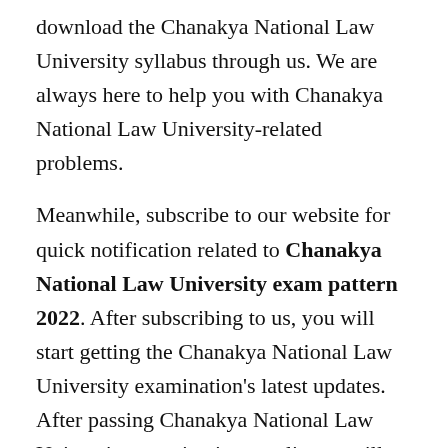download the Chanakya National Law University syllabus through us. We are always here to help you with Chanakya National Law University-related problems.
Meanwhile, subscribe to our website for quick notification related to Chanakya National Law University exam pattern 2022. After subscribing to us, you will start getting the Chanakya National Law University examination's latest updates. After passing Chanakya National Law University examination, applicants will appear in the next selection round.
Similarly, Chanakya National Law University every year conducts exams for many seats by online or offline mode. If you have any other thing to know,